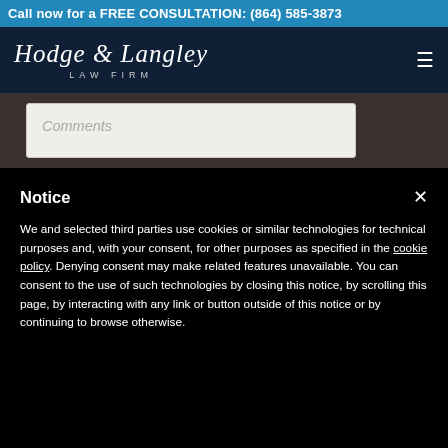Call now for a FREE CONSULTATION: (864) 585-3873
[Figure (logo): Hodge & Langley Law Firm logo in white script font on dark navy background]
Comments
Notice
We and selected third parties use cookies or similar technologies for technical purposes and, with your consent, for other purposes as specified in the cookie policy. Denying consent may make related features unavailable. You can consent to the use of such technologies by closing this notice, by scrolling this page, by interacting with any link or button outside of this notice or by continuing to browse otherwise.